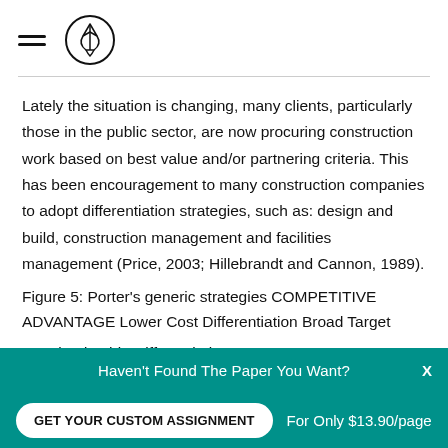[hamburger menu icon + logo]
Lately the situation is changing, many clients, particularly those in the public sector, are now procuring construction work based on best value and/or partnering criteria. This has been encouragement to many construction companies to adopt differentiation strategies, such as: design and build, construction management and facilities management (Price, 2003; Hillebrandt and Cannon, 1989).
Figure 5: Porter’s generic strategies COMPETITIVE ADVANTAGE Lower Cost Differentiation Broad Target
Cost leadership Differentiation COMPETITIVE SCOPE
Haven't Found The Paper You Want?
GET YOUR CUSTOM ASSIGNMENT
For Only $13.90/page